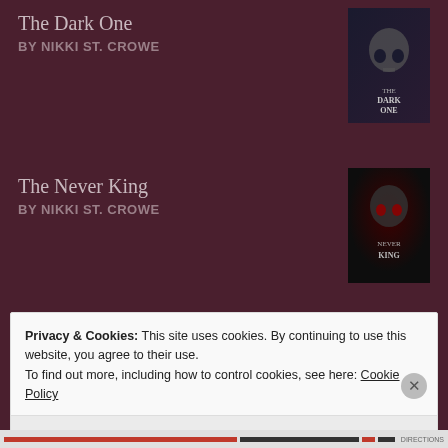The Dark One
BY NIKKI ST. CROWE
[Figure (illustration): Book cover for The Dark One by Nikki St. Crowe — dark cover with skull imagery and text]
The Never King
BY NIKKI ST. CROWE
[Figure (illustration): Book cover for The Never King by Nikki St. Crowe — dark cover with face/skull imagery]
The Woman in Cabin 10
BY RUTH WARE
[Figure (illustration): Book cover for The Woman in Cabin 10 by Ruth Ware — dark blue cover with text]
[Figure (logo): Goodreads logo in a white rounded rectangle widget]
Privacy & Cookies: This site uses cookies. By continuing to use this website, you agree to their use.
To find out more, including how to control cookies, see here: Cookie Policy
Close and accept